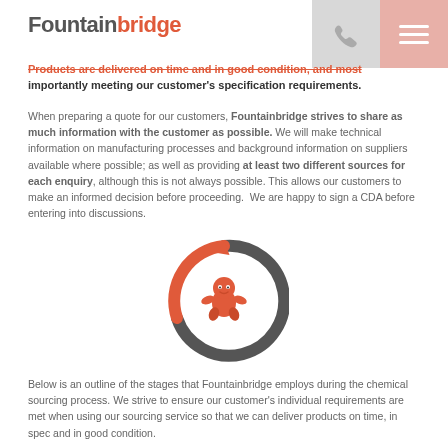Fountainbridge
Products are delivered on time and in good condition, and most importantly meeting our customer's specification requirements.
When preparing a quote for our customers, Fountainbridge strives to share as much information with the customer as possible. We will make technical information on manufacturing processes and background information on suppliers available where possible; as well as providing at least two different sources for each enquiry, although this is not always possible. This allows our customers to make an informed decision before proceeding. We are happy to sign a CDA before entering into discussions.
[Figure (illustration): Circular arrow loading/cycle icon in dark gray with an orange lotus or frog-like mascot icon in the center]
Below is an outline of the stages that Fountainbridge employs during the chemical sourcing process. We strive to ensure our customer's individual requirements are met when using our sourcing service so that we can deliver products on time, in spec and in good condition.